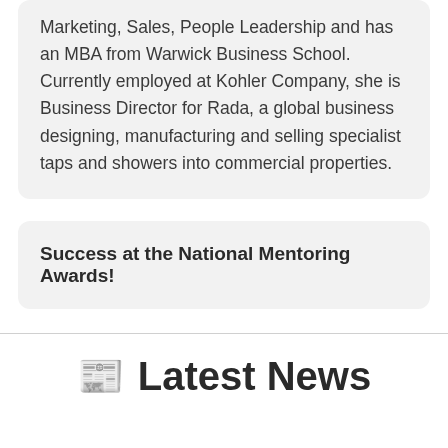Marketing, Sales, People Leadership and has an MBA from Warwick Business School. Currently employed at Kohler Company, she is Business Director for Rada, a global business designing, manufacturing and selling specialist taps and showers into commercial properties.
Success at the National Mentoring Awards!
Latest News